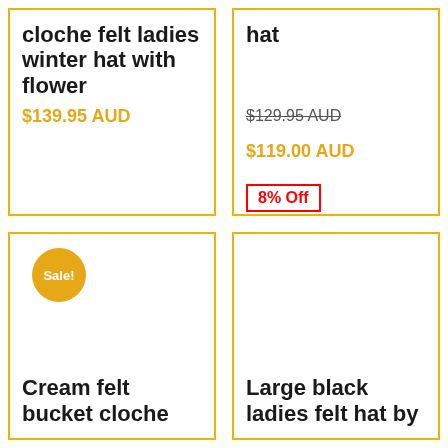cloche felt ladies winter hat with flower
$139.95 AUD
hat
$129.95 AUD (original), $119.00 AUD, 8% Off
Sale!
Cream felt bucket cloche
Large black ladies felt hat by